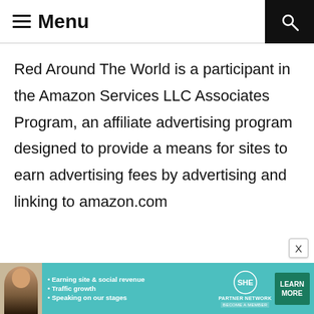≡ Menu
Red Around The World is a participant in the Amazon Services LLC Associates Program, an affiliate advertising program designed to provide a means for sites to earn advertising fees by advertising and linking to amazon.com
[Figure (infographic): SHE Partner Network advertisement banner with photo of woman, bullet points about earning site & social revenue, traffic growth, speaking on stages, SHE logo, and LEARN MORE button]